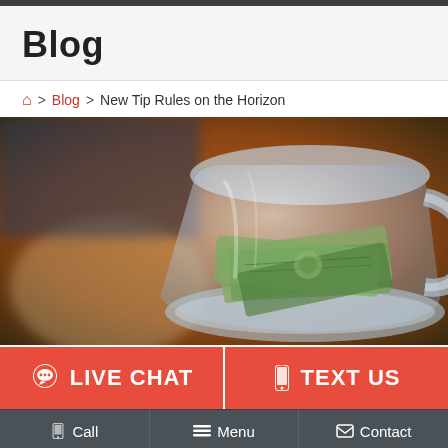Blog
🏠 > Blog > New Tip Rules on the Horizon
[Figure (photo): A close-up photograph of an inverted glass jar or mug filled with rolled US dollar bills (tip jar), with a blurred warm brown background suggesting a restaurant or bar setting.]
LIVE CHAT
TEXT US
Call  Menu  Contact